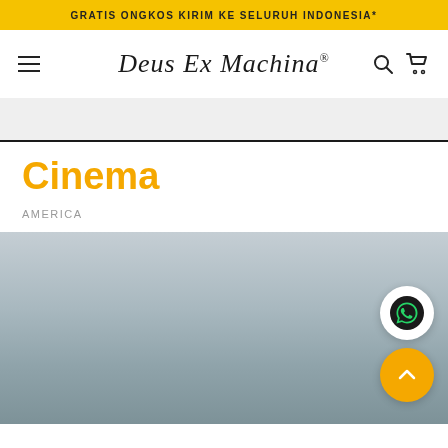GRATIS ONGKOS KIRIM KE SELURUH INDONESIA*
[Figure (logo): Deus Ex Machina script logo with hamburger menu icon, search icon, and cart icon in navigation bar]
Cinema
AMERICA
[Figure (photo): Muted outdoor scene with grey-blue sky and hazy landscape, partially visible. WhatsApp contact button (white circle with WhatsApp icon) and back-to-top button (orange circle with chevron up) overlaid on lower right.]